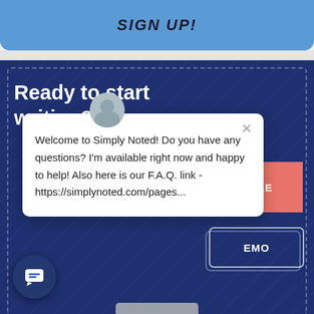SIGN UP!
Ready to start writing?
Welcome to Simply Noted! Do you have any questions? I'm available right now and happy to help! Also here is our F.A.Q. link - https://simplynoted.com/pages...
[Figure (screenshot): Partial view of red 'SAMPLE' button and outlined 'DEMO' button on dark blue background]
[Figure (illustration): Dark blue circular chat bubble icon button at bottom left]